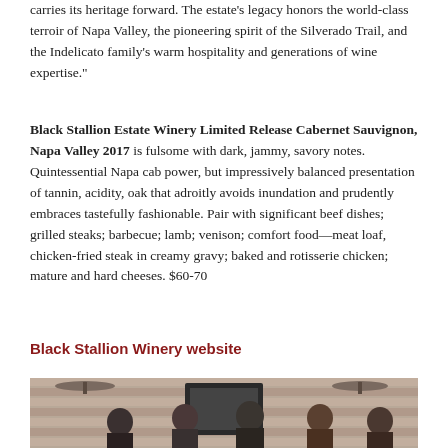carries its heritage forward. The estate's legacy honors the world-class terroir of Napa Valley, the pioneering spirit of the Silverado Trail, and the Indelicato family's warm hospitality and generations of wine expertise."
Black Stallion Estate Winery Limited Release Cabernet Sauvignon, Napa Valley 2017 is fulsome with dark, jammy, savory notes. Quintessential Napa cab power, but impressively balanced presentation of tannin, acidity, oak that adroitly avoids inundation and prudently embraces tastefully fashionable. Pair with significant beef dishes; grilled steaks; barbecue; lamb; venison; comfort food—meat loaf, chicken-fried steak in creamy gravy; baked and rotisserie chicken; mature and hard cheeses. $60-70
Black Stallion Winery website
[Figure (photo): Group photo of people inside a wooden-paneled building with ceiling fans visible]